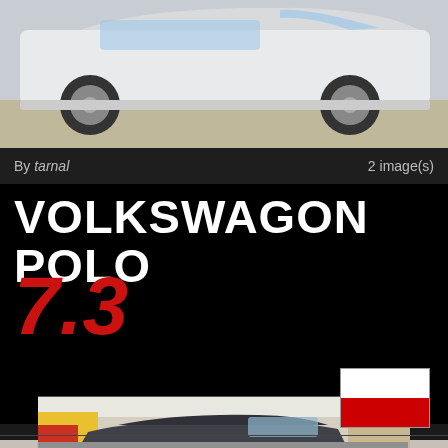[Figure (photo): Side view of a white/silver modified Volkswagen Polo with sport body kit and alloy wheels, photographed outdoors on gravel]
By tarnal    2 image(s)
VOLKSWAGON POLO
7.3
[Figure (illustration): Polish flag — white top half, red bottom half]
[Figure (photo): Front three-quarter view of a dark grey Volkswagen Polo hatchback on a street with colorful background]